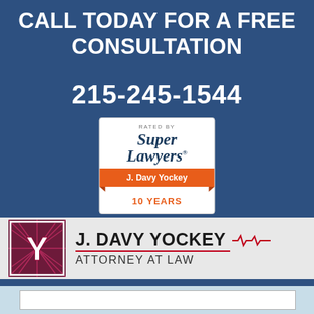CALL TODAY FOR A FREE CONSULTATION
215-245-1544
[Figure (logo): Super Lawyers badge: RATED BY Super Lawyers, J. Davy Yockey, 10 YEARS]
[Figure (logo): J. Davy Yockey Attorney at Law logo with Y monogram in dark red/magenta starburst square]
J. DAVY YOCKEY ATTORNEY AT LAW